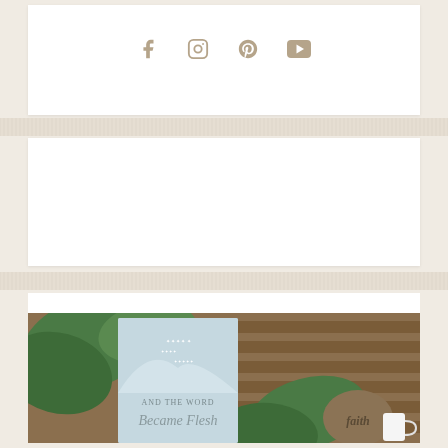[Figure (other): Social media icons: Facebook, Instagram, Pinterest, YouTube in tan/gold color on white background]
[Figure (photo): Photo of a book titled 'AND THE WORD Became Flesh' with a light blue starry cover, surrounded by green leaves, a wooden blind background, and a 'faith' engraved stone]